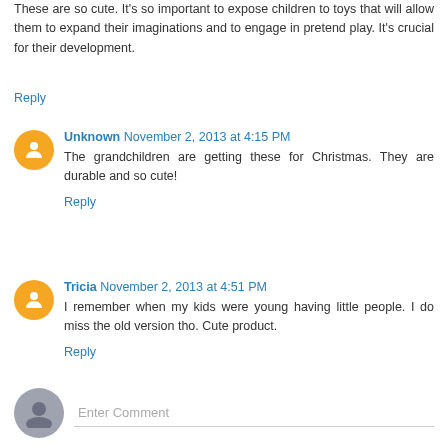These are so cute. It's so important to expose children to toys that will allow them to expand their imaginations and to engage in pretend play. It's crucial for their development.
Reply
Unknown November 2, 2013 at 4:15 PM
The grandchildren are getting these for Christmas. They are durable and so cute!
Reply
Tricia November 2, 2013 at 4:51 PM
I remember when my kids were young having little people. I do miss the old version tho. Cute product.
Reply
Enter Comment